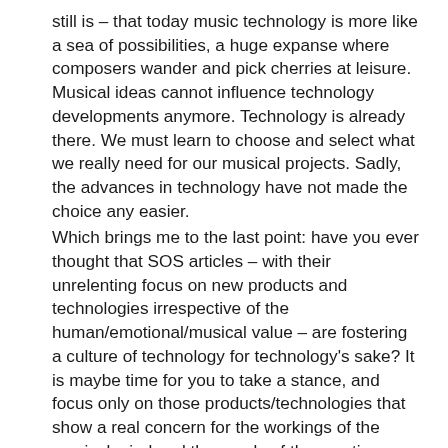still is – that today music technology is more like a sea of possibilities, a huge expanse where composers wander and pick cherries at leisure. Musical ideas cannot influence technology developments anymore. Technology is already there. We must learn to choose and select what we really need for our musical projects. Sadly, the advances in technology have not made the choice any easier.
Which brings me to the last point: have you ever thought that SOS articles – with their unrelenting focus on new products and technologies irrespective of the human/emotional/musical value – are fostering a culture of technology for technology's sake? It is maybe time for you to take a stance, and focus only on those products/technologies that show a real concern for the workings of the musical mind and the needs of the creative process. The risk of course is that you're probably going to end up with a very thin magazine...